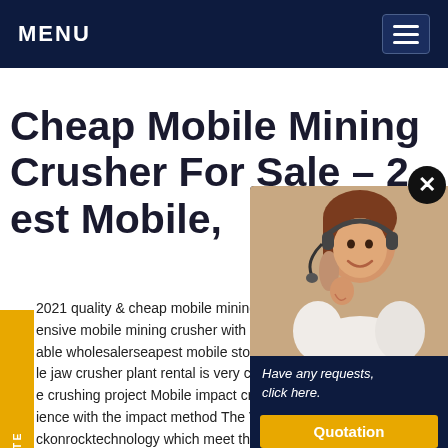MENU
Cheap Mobile Mining Crusher For Sale – 2 est Mobile,
2021 quality & cheap mobile mining crusher for sale. Inexpensive mobile mining crusher with discounted price from reliable wholesalerseapest mobile stone crusher - stone jaw crusher plant rental is very cheap and economic for the crushing project Mobile impact crushers are based on experience with the impact method The VSI impact crusher of rockonrocktechnology which meet the market's need for increasing quantities of highly cubical materials or For Impact Crusher Machine - Mobile, Stone Crusher Plant Machine, Crusher Plant Alibaba, Cheap used small portable mobile aggregate rock metal crushing stone stone crusher plant ma 9900000 18000000 set 1 set min order For Mobile Crusher MachineCheapest Mobile Stone Crusher - kijka Mobile Stone Crusher Machine manufacturers - Select 2 Mobile Stone Crusher Machine products in best price from Chinese Mining Machine Crushing Equipment suppliers wholesale factory on Made-in-China. 14089 convenient cheap stone mobile
[Figure (photo): Customer support woman with headset smiling, popup overlay on dark blue background with 'Have any requests, click here.' text, Quotation button, Enquiry section, and drobilkalm@gmail.com email]